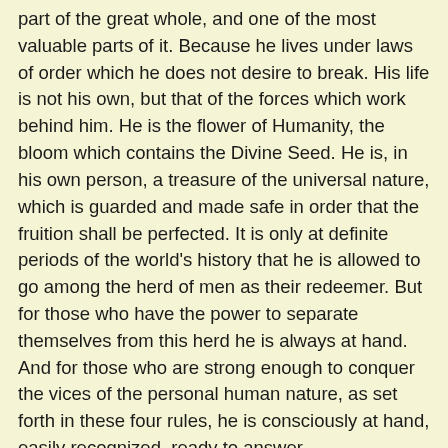part of the great whole, and one of the most valuable parts of it. Because he lives under laws of order which he does not desire to break. His life is not his own, but that of the forces which work behind him. He is the flower of Humanity, the bloom which contains the Divine Seed. He is, in his own person, a treasure of the universal nature, which is guarded and made safe in order that the fruition shall be perfected. It is only at definite periods of the world's history that he is allowed to go among the herd of men as their redeemer. But for those who have the power to separate themselves from this herd he is always at hand. And for those who are strong enough to conquer the vices of the personal human nature, as set forth in these four rules, he is consciously at hand, easily recognized, ready to answer.
But this conquering of self implies a destruction of qualities which most men regard as not only indestructible but desirable. The “power to wound” includes much that man value, not only in themselves, but in others. The instinct of self-defence and of self-preservation is part of it; the idea that one has any right or rights, either as citizen, or man, or individual, the pleasant consciousness of self-respect and of virtue. These are hard sayings to many; yet they are true. For these words that I am writing now, and those which I have written on this subject, are not in any sense my own. They are drawn from the traditions of the lodge of the Great